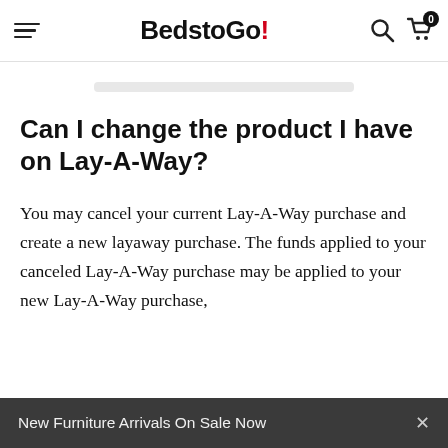BedstoGo!
Can I change the product I have on Lay-A-Way?
You may cancel your current Lay-A-Way purchase and create a new layaway purchase. The funds applied to your canceled Lay-A-Way purchase may be applied to your new Lay-A-Way purchase,
New Furniture Arrivals On Sale Now